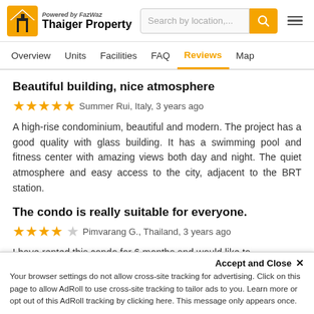[Figure (logo): Thaiger Property logo with house icon, 'Powered by FazWaz' text and 'Thaiger Property' brand name, search bar and hamburger menu]
Overview  Units  Facilities  FAQ  Reviews  Map
Beautiful building, nice atmosphere
★★★★★ Summer Rui, Italy, 3 years ago
A high-rise condominium, beautiful and modern. The project has a good quality with glass building. It has a swimming pool and fitness center with amazing views both day and night. The quiet atmosphere and easy access to the city, adjacent to the BRT station.
The condo is really suitable for everyone.
★★★★☆ Pimvarang G., Thailand, 3 years ago
I have rented this condo for 6 months and would like to recommend
Accept and Close ✕
Your browser settings do not allow cross-site tracking for advertising. Click on this page to allow AdRoll to use cross-site tracking to tailor ads to you. Learn more or opt out of this AdRoll tracking by clicking here. This message only appears once.